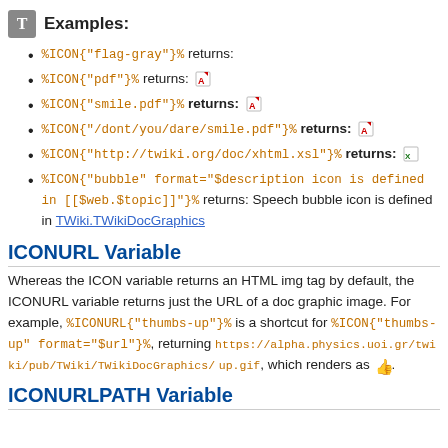Examples:
%ICON{"flag-gray"}% returns:
%ICON{"pdf"}% returns: [pdf icon]
%ICON{"smile.pdf"}% returns: [pdf icon]
%ICON{"/dont/you/dare/smile.pdf"}% returns: [pdf icon]
%ICON{"http://twiki.org/doc/xhtml.xsl"}% returns: [xsl icon]
%ICON{"bubble" format="$description icon is defined in [[$web.$topic]]"}% returns: Speech bubble icon is defined in TWiki.TWikiDocGraphics
ICONURL Variable
Whereas the ICON variable returns an HTML img tag by default, the ICONURL variable returns just the URL of a doc graphic image. For example, %ICONURL{"thumbs-up"}% is a shortcut for %ICON{"thumbs-up" format="$url"}%, returning https://alpha.physics.uoi.gr/twiki/pub/TWiki/TWikiDocGraphics/up.gif, which renders as [thumbs-up icon].
ICONURLPATH Variable